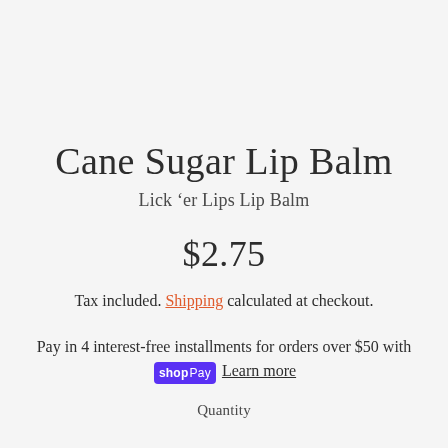Cane Sugar Lip Balm
Lick ‘er Lips Lip Balm
$2.75
Tax included. Shipping calculated at checkout.
Pay in 4 interest-free installments for orders over $50 with Shop Pay Learn more
Quantity